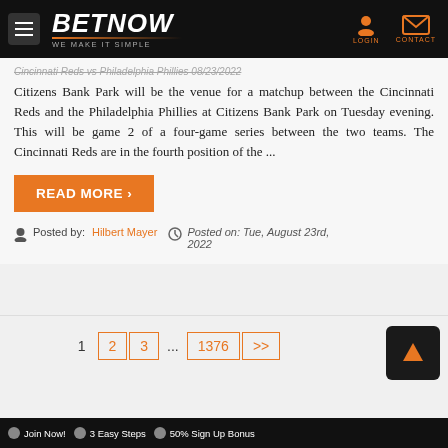BETNOW WE MAKE IT SIMPLE | LOGIN | CONTACT
Cincinnati Reds vs Philadelphia Phillies 08/23/2022 Citizens Bank Park will be the venue for a matchup between the Cincinnati Reds and the Philadelphia Phillies at Citizens Bank Park on Tuesday evening. This will be game 2 of a four-game series between the two teams. The Cincinnati Reds are in the fourth position of the ...
READ MORE ›
Posted by: Hilbert Mayer  Posted on: Tue, August 23rd, 2022
1  2  3  ...  1376  >>
Join Now!  3 Easy Steps  50% Sign Up Bonus